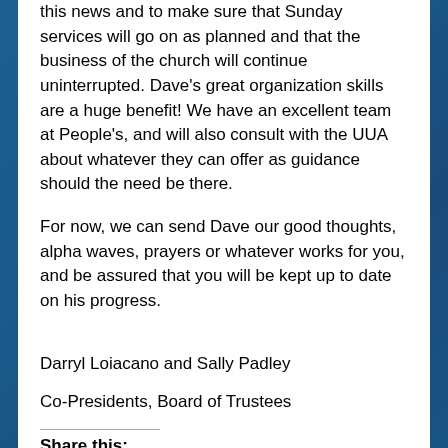this news and to make sure that Sunday services will go on as planned and that the business of the church will continue uninterrupted. Dave's great organization skills are a huge benefit! We have an excellent team at People's, and will also consult with the UUA about whatever they can offer as guidance should the need be there.
For now, we can send Dave our good thoughts, alpha waves, prayers or whatever works for you, and be assured that you will be kept up to date on his progress.
Darryl Loiacano and Sally Padley
Co-Presidents, Board of Trustees
Share this: